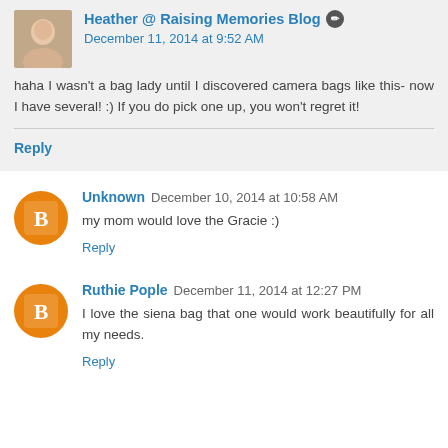Heather @ Raising Memories Blog · December 11, 2014 at 9:52 AM
haha I wasn't a bag lady until I discovered camera bags like this- now I have several! :) If you do pick one up, you won't regret it!
Reply
Unknown  December 10, 2014 at 10:58 AM
my mom would love the Gracie :)
Reply
Ruthie Pople  December 11, 2014 at 12:27 PM
I love the siena bag that one would work beautifully for all my needs.
Reply